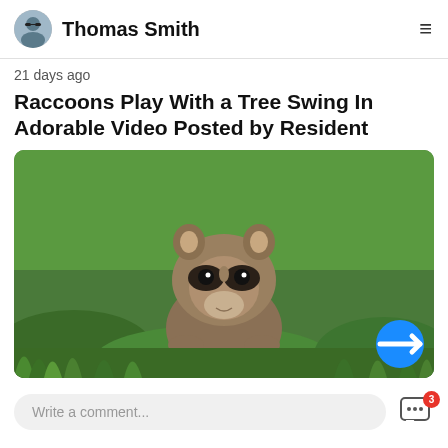Thomas Smith
21 days ago
Raccoons Play With a Tree Swing In Adorable Video Posted by Resident
[Figure (photo): A young raccoon sitting in bright green grass, looking directly at the camera with its characteristic black mask markings.]
Write a comment...